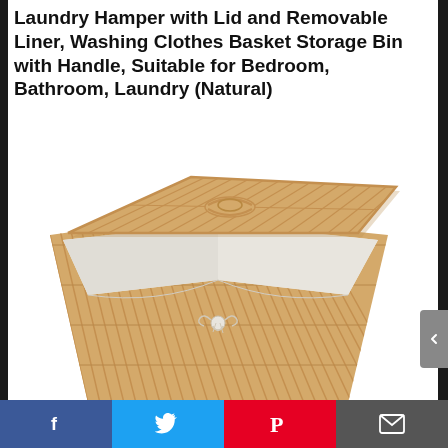Laundry Hamper with Lid and Removable Liner, Washing Clothes Basket Storage Bin with Handle, Suitable for Bedroom, Bathroom, Laundry (Natural)
[Figure (photo): Bamboo corner laundry hamper with a wedge-shaped bamboo slat lid with a woven handle on top, a white fabric liner visible folded over the top edge and tied with a cord bow at the front, and vertical bamboo slats forming the body of the basket.]
[Figure (screenshot): Social sharing bar at the bottom with four buttons: Facebook (blue, f icon), Twitter (light blue, bird icon), Pinterest (red, P icon), Email (dark grey, envelope icon).]